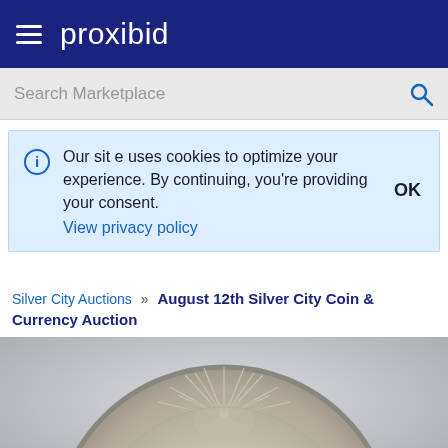proxibid
Search Marketplace
Our site uses cookies to optimize your experience. By continuing, you're providing your consent.
View privacy policy
OK
Silver City Auctions » August 12th Silver City Coin & Currency Auction
[Figure (photo): Close-up photo of a silver coin showing an eagle design with radiating lines, partially cropped at bottom of page]